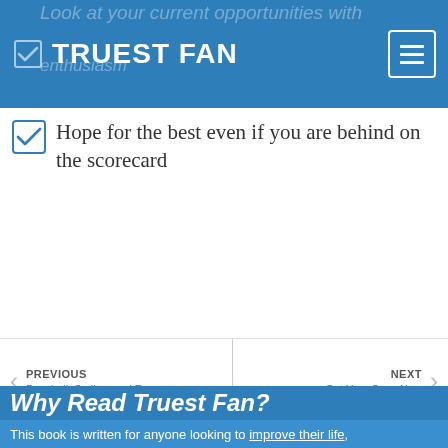TRUEST FAN
Hope for the best even if you are behind on the scorecard
PREVIOUS
Baseball, Smiles, and Encourage...
NEXT
Get Your Copy Now
Why Read Truest Fan?
This book is written for anyone looking to improve their life,